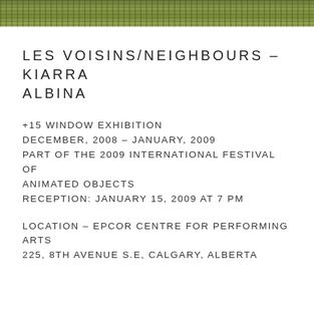[Figure (photo): Narrow horizontal strip showing a blurred outdoor scene with green foliage/grass]
LES VOISINS/NEIGHBOURS – KIARRA ALBINA
+15 WINDOW EXHIBITION
DECEMBER, 2008 – JANUARY, 2009
PART OF THE 2009 INTERNATIONAL FESTIVAL OF ANIMATED OBJECTS
RECEPTION: JANUARY 15, 2009 AT 7 PM
LOCATION – EPCOR CENTRE FOR PERFORMING ARTS
225, 8th Avenue S.E, CALGARY, ALBERTA